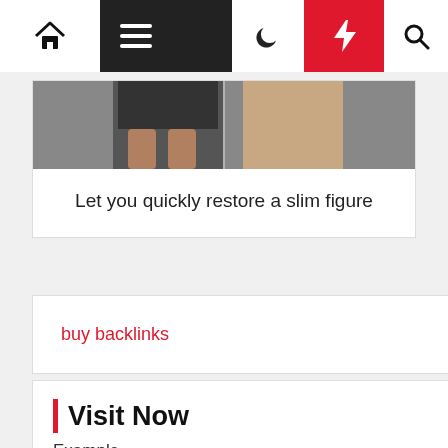Navigation bar with home, menu, moon, bolt, and search icons
[Figure (photo): Cropped photo showing a person's legs in black shorts, before/after style comparison image]
Let you quickly restore a slim figure
buy backlinks
Visit Now
Example